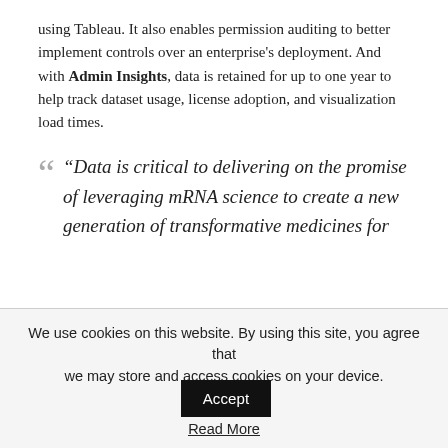using Tableau. It also enables permission auditing to better implement controls over an enterprise's deployment. And with Admin Insights, data is retained for up to one year to help track dataset usage, license adoption, and visualization load times.
“Data is critical to delivering on the promise of leveraging mRNA science to create a new generation of transformative medicines for
We use cookies on this website. By using this site, you agree that we may store and access cookies on your device.
Read More